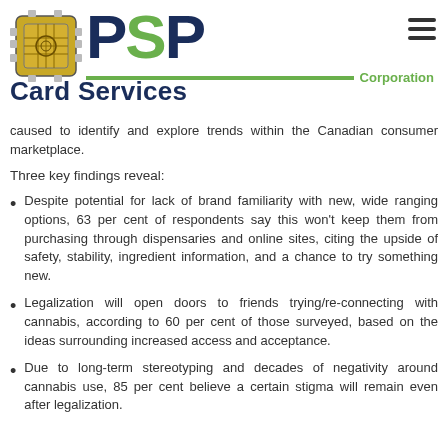PSP Corporation — Card Services
caused to identify and explore trends within the Canadian consumer marketplace.
Three key findings reveal:
Despite potential for lack of brand familiarity with new, wide ranging options, 63 per cent of respondents say this won't keep them from purchasing through dispensaries and online sites, citing the upside of safety, stability, ingredient information, and a chance to try something new.
Legalization will open doors to friends trying/re-connecting with cannabis, according to 60 per cent of those surveyed, based on the ideas surrounding increased access and acceptance.
Due to long-term stereotyping and decades of negativity around cannabis use, 85 per cent believe a certain stigma will remain even after legalization.